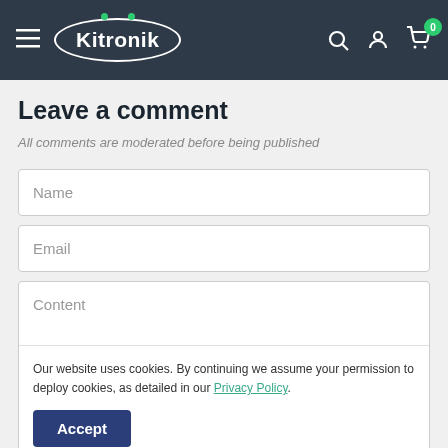Kitronik navigation bar with hamburger menu, logo, search, account, and cart icons
Leave a comment
All comments are moderated before being published
Name
Email
Content
Our website uses cookies. By continuing we assume your permission to deploy cookies, as detailed in our Privacy Policy.